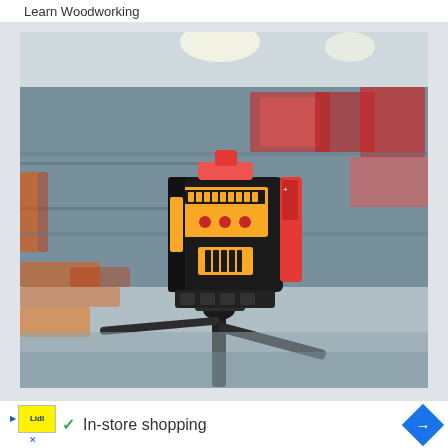Learn Woodworking
[Figure (photo): A yellow and black laser level tool mounted on a tripod, photographed in a hardware store with tools and shelving in the blurred background.]
In-store shopping